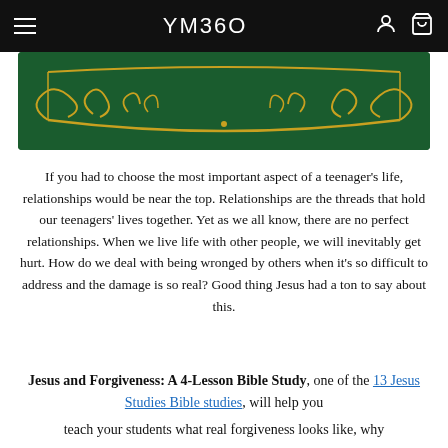YM360
[Figure (illustration): Green background decorative ornamental border with gold/yellow scrollwork design]
If you had to choose the most important aspect of a teenager's life, relationships would be near the top. Relationships are the threads that hold our teenagers' lives together. Yet as we all know, there are no perfect relationships. When we live life with other people, we will inevitably get hurt. How do we deal with being wronged by others when it's so difficult to address and the damage is so real? Good thing Jesus had a ton to say about this.
Jesus and Forgiveness: A 4-Lesson Bible Study, one of the 13 Jesus Studies Bible studies, will help you teach your students what real forgiveness looks like, why